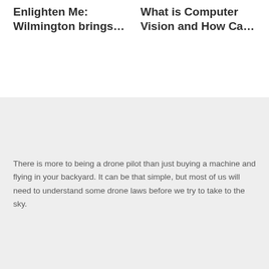Enlighten Me: Wilmington brings…
What is Computer Vision and How Ca…
There is more to being a drone pilot than just buying a machine and flying in your backyard. It can be that simple, but most of us will need to understand some drone laws before we try to take to the sky.
SUBSCRIBE NOW